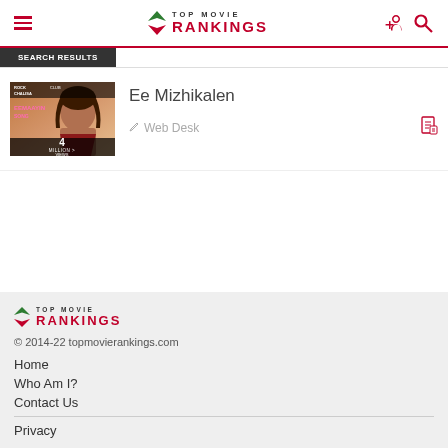TOP MOVIE RANKINGS
Ee Mizhikalen
Web Desk
[Figure (photo): Thumbnail image of a woman with text overlay showing 4 MILLION VIEWS]
TOP MOVIE RANKINGS
© 2014-22 topmovierankings.com
Home
Who Am I?
Contact Us
Privacy